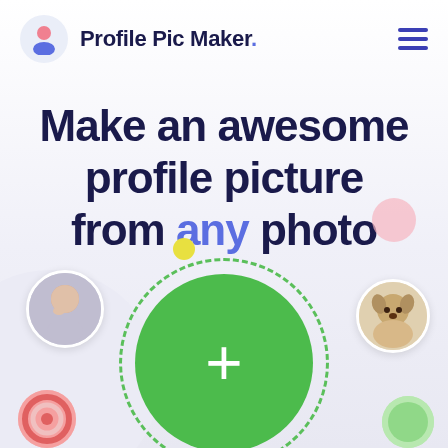Profile Pic Maker.
Make an awesome profile picture from any photo
[Figure (illustration): Web app hero section showing a green upload circle with a plus sign, flanked by circular profile photo thumbnails of a woman, a dog, and decorative blobs on a light purple background.]